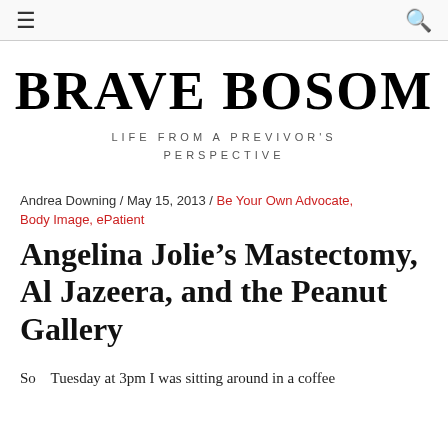≡  🔍
BRAVE BOSOM
LIFE FROM A PREVIVOR'S PERSPECTIVE
Andrea Downing / May 15, 2013 / Be Your Own Advocate, Body Image, ePatient
Angelina Jolie's Mastectomy, Al Jazeera, and the Peanut Gallery
So   Tuesday at 3pm I was sitting around in a coffee